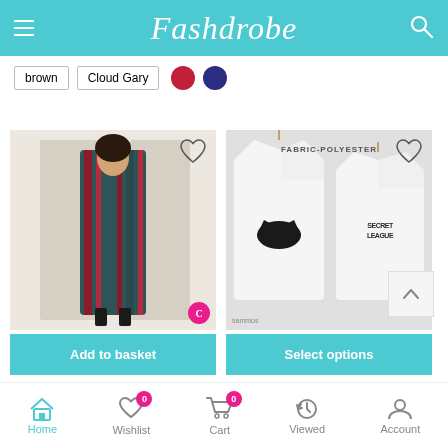Fashdrobe
brown | Cloud Gary | (red circle) | (blue circle)
[Figure (photo): Woman wearing a striped multicolor dress, product card with Add to basket button]
[Figure (photo): Two white t-shirts on hangers, text FABRIC-POLYESTER, with Select options button]
Home | Wishlist 0 | Cart 0 | Viewed | Account